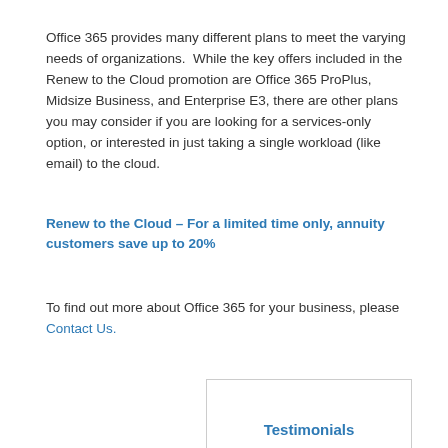Office 365 provides many different plans to meet the varying needs of organizations.  While the key offers included in the Renew to the Cloud promotion are Office 365 ProPlus, Midsize Business, and Enterprise E3, there are other plans you may consider if you are looking for a services-only option, or interested in just taking a single workload (like email) to the cloud.
Renew to the Cloud – For a limited time only, annuity customers save up to 20%
To find out more about Office 365 for your business, please Contact Us.
Testimonials